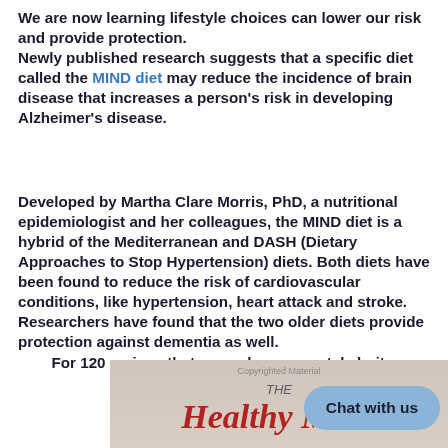We are now learning lifestyle choices can lower our risk and provide protection. Newly published research suggests that a specific diet called the MIND diet may reduce the incidence of brain disease that increases a person's risk in developing Alzheimer's disease.
Developed by Martha Clare Morris, PhD, a nutritional epidemiologist and her colleagues, the MIND diet is a hybrid of the Mediterranean and DASH (Dietary Approaches to Stop Hypertension) diets. Both diets have been found to reduce the risk of cardiovascular conditions, like hypertension, heart attack and stroke. Researchers have found that the two older diets provide protection against dementia as well. For 120 recipes that can enhance mental clarity, read The Healthy Mind C...
[Figure (photo): Book cover showing 'THE Healthy Mind' title with red italic serif text on a light grey/beige background, with 'Copyrighted Material' watermark]